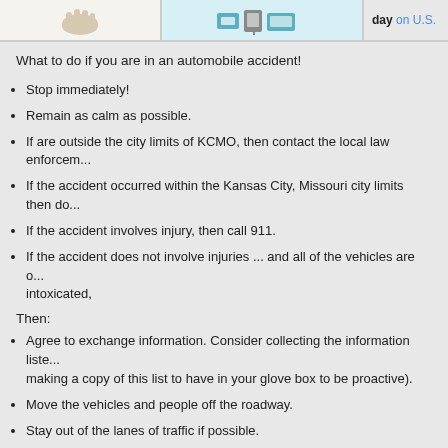[Figure (illustration): Top banner with hand illustration on left, device/computer icons in center (teal background), and 'day on U.S...' text on right]
What to do if you are in an automobile accident!
Stop immediately!
Remain as calm as possible.
If are outside the city limits of KCMO, then contact the local law enforcem...
If the accident occurred within the Kansas City, Missouri city limits then do...
If the accident involves injury, then call 911.
If the accident does not involve injuries ... and all of the vehicles are o... intoxicated,
Then:
Agree to exchange information. Consider collecting the information liste... making a copy of this list to have in your glove box to be proactive).
Move the vehicles and people off the roadway.
Stay out of the lanes of traffic if possible.
Call your insurance company.
One or both parties respond to a KCMO Police Division Station with the... can't be handled with phone-in reports.
Exchange Case Report Numbers given by police personnel to all parties i...